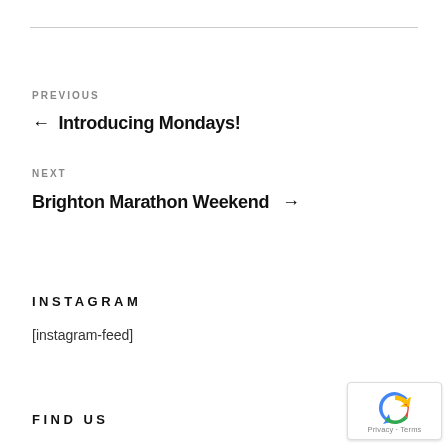PREVIOUS
← Introducing Mondays!
NEXT
Brighton Marathon Weekend →
INSTAGRAM
[instagram-feed]
FIND US